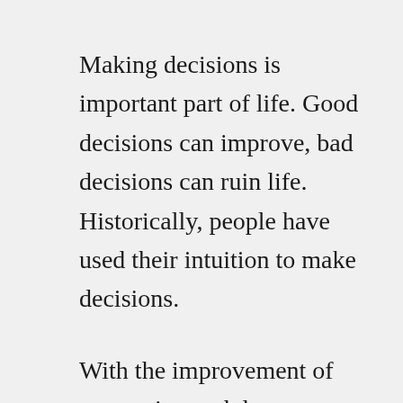Making decisions is important part of life. Good decisions can improve, bad decisions can ruin life. Historically, people have used their intuition to make decisions.
With the improvement of computing and data processing, people have gradually started to use